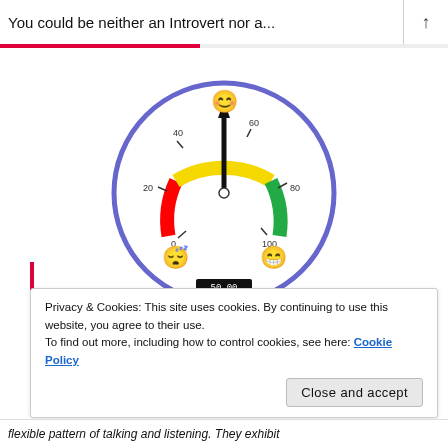You could be neither an Introvert nor a...
[Figure (other): A gauge/speedometer dial chart showing a score of 50.00. The dial has colored arcs: red from 0 to ~20, yellow from ~20 to ~80, and green from ~80 to 100. The needle points straight up to 50. Emoji faces are shown at different positions: a sleepy face near 0-20 (introverted), a blushing smiling face at the top (50, ambivert), and a laughing face near 80-100 (extroverted). Tick marks and labels at 0, 20, 40, 60, 80, 100. A digital readout shows 50.00 at the bottom of the dial.]
Privacy & Cookies: This site uses cookies. By continuing to use this website, you agree to their use.
To find out more, including how to control cookies, see here: Cookie Policy
Close and accept
flexible pattern of talking and listening. They exhibit